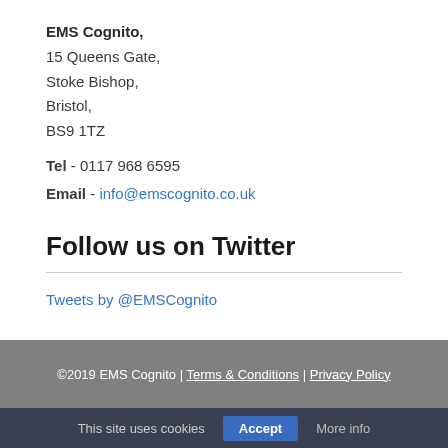EMS Cognito,
15 Queens Gate,
Stoke Bishop,
Bristol,
BS9 1TZ
Tel - 0117 968 6595
Email - info@emscognito.co.uk
Follow us on Twitter
Tweets by @EMSCognito
©2019 EMS Cognito | Terms & Conditions | Privacy Policy
This site uses cookies  Accept  More info